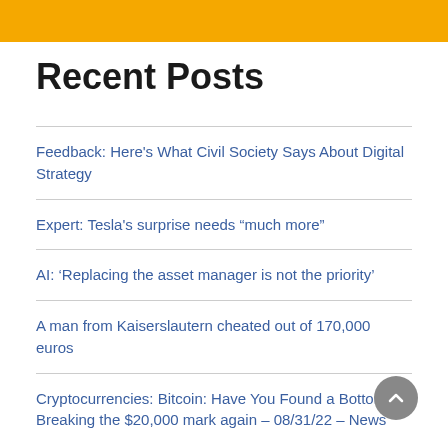Recent Posts
Feedback: Here's What Civil Society Says About Digital Strategy
Expert: Tesla's surprise needs “much more”
AI: ‘Replacing the asset manager is not the priority’
A man from Kaiserslautern cheated out of 170,000 euros
Cryptocurrencies: Bitcoin: Have You Found a Bottom? Breaking the $20,000 mark again – 08/31/22 – News